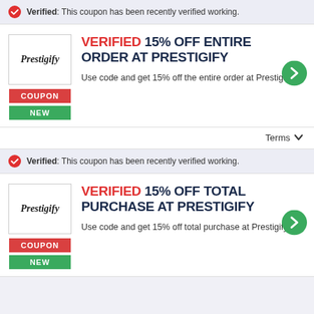Verified: This coupon has been recently verified working.
Verified 15% Off Entire Order at Prestigify
Use code and get 15% off the entire order at Prestigify.
Terms
Verified: This coupon has been recently verified working.
Verified 15% Off Total Purchase at Prestigify
Use code and get 15% off total purchase at Prestigify.